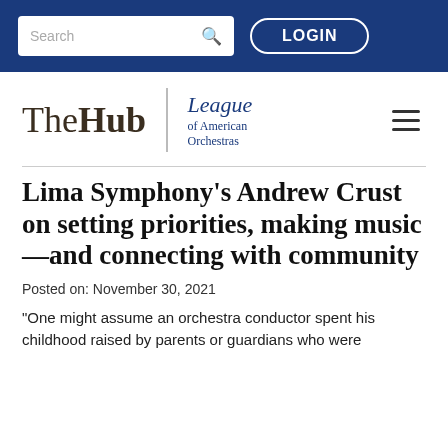Search | LOGIN
[Figure (logo): The Hub | League of American Orchestras logo with hamburger menu]
Lima Symphony's Andrew Crust on setting priorities, making music—and connecting with community
Posted on: November 30, 2021
“One might assume an orchestra conductor spent his childhood raised by parents or guardians who were